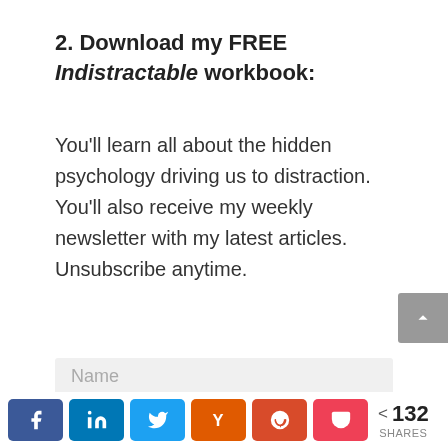2. Download my FREE Indistractable workbook:
You'll learn all about the hidden psychology driving us to distraction. You'll also receive my weekly newsletter with my latest articles. Unsubscribe anytime.
Name
[Figure (infographic): Social share bar with Facebook, LinkedIn, Twitter, Y Combinator, Reddit, and Pocket buttons, plus a share count of 132 SHARES]